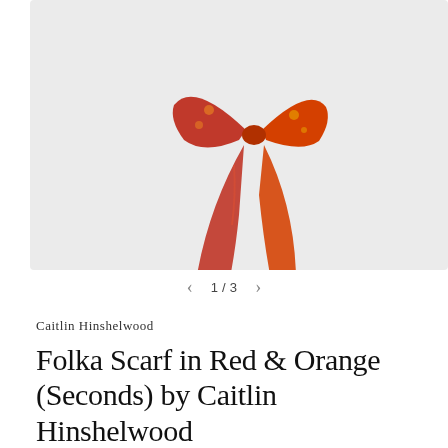[Figure (photo): A red and orange folka silk scarf tied in a bow knot, photographed against a light grey background.]
1 / 3
Caitlin Hinshelwood
Folka Scarf in Red & Orange (Seconds) by Caitlin Hinshelwood